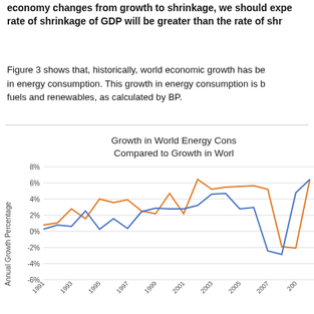economy changes from growth to shrinkage, we should expect the rate of shrinkage of GDP will be greater than the rate of shr...
Figure 3 shows that, historically, world economic growth has been accompanied by growth in energy consumption. This growth in energy consumption is based on fossil fuels and renewables, as calculated by BP.
[Figure (line-chart): Growth in World Energy Consumption Compared to Growth in World GDP]